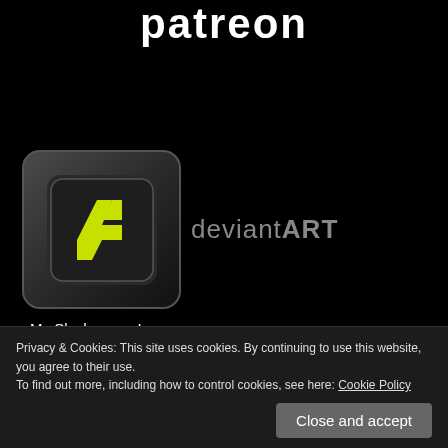patreon
[Figure (logo): DeviantArt logo — green da symbol on dark rounded square background, with 'deviantART' wordmark beside it]
My Slushe page!
My Twitter page.
My Pixiv page!
Buy Me a Coffee at ko-fi.com
My HF page.
My old tumblr page.
RedLeatherArt.com
Privacy & Cookies: This site uses cookies. By continuing to use this website, you agree to their use.
To find out more, including how to control cookies, see here: Cookie Policy
Close and accept